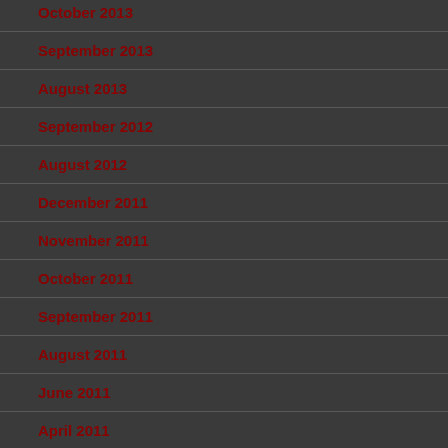October 2013
September 2013
August 2013
September 2012
August 2012
December 2011
November 2011
October 2011
September 2011
August 2011
June 2011
April 2011
March 2011